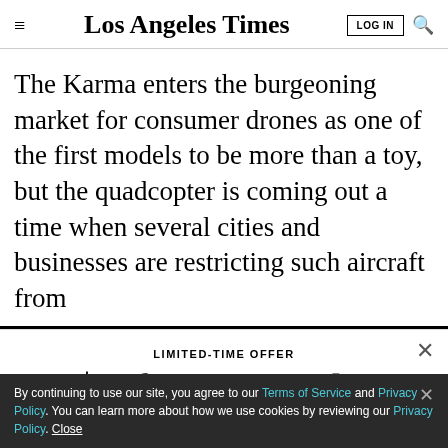Los Angeles Times
The Karma enters the burgeoning market for consumer drones as one of the first models to be more than a toy, but the quadcopter is coming out a time when several cities and businesses are restricting such aircraft from
LIMITED-TIME OFFER
$1 for 6 Months
SUBSCRIBE NOW
By continuing to use our site, you agree to our Terms of Service and Privacy Policy. You can learn more about how we use cookies by reviewing our Privacy Policy. Close